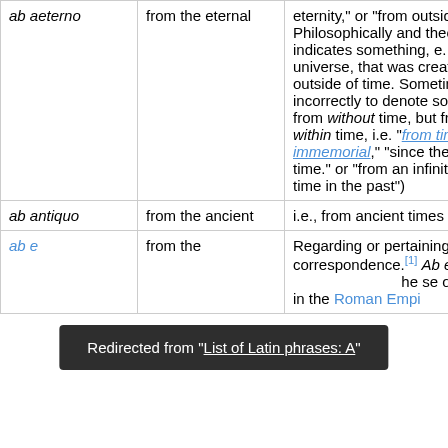| Latin phrase | Literal translation | Notes |
| --- | --- | --- |
| ab aeterno | from the eternal | eternity," or "from outside... Philosophically and theolo... indicates something, e. g. universe, that was created outside of time. Sometimes incorrectly to denote some from without time, but from within time, i.e. "from time immemorial," "since the b time." or "from an infinitely time in the past") |
| ab antiquo | from the ancient | i.e., from ancient times |
| ab e... | from the... | Regarding or pertaining to correspondence.[1] Ab ep... ...he se... office in the Roman Empi... |
Redirected from "List of Latin phrases: A"